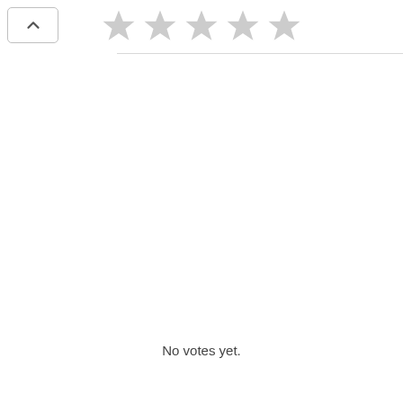[Figure (other): UI screenshot showing a back/up chevron button on the left and five empty (light gray) star rating icons centered at the top of the page]
No votes yet.